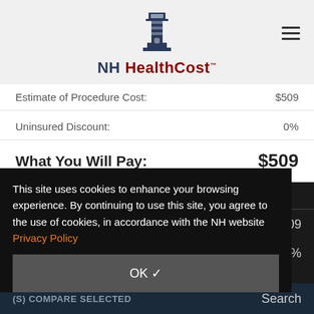[Figure (logo): NH HealthCost lighthouse logo with text]
| Item | Value |
| --- | --- |
| Estimate of Procedure Cost: | $509 |
| Uninsured Discount: | 0% |
| What You Will Pay: | $509 |
This site uses cookies to enhance your browsing experience. By continuing to use this site, you agree to the use of cookies, in accordance with the NH website Privacy Policy
OK ✓